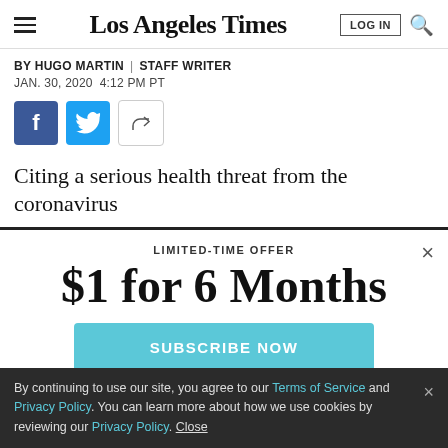Los Angeles Times
BY HUGO MARTIN | STAFF WRITER
JAN. 30, 2020 4:12 PM PT
[Figure (other): Social share buttons: Facebook, Twitter, and share icon]
Citing a serious health threat from the coronavirus
LIMITED-TIME OFFER
$1 for 6 Months
SUBSCRIBE NOW
By continuing to use our site, you agree to our Terms of Service and Privacy Policy. You can learn more about how we use cookies by reviewing our Privacy Policy. Close